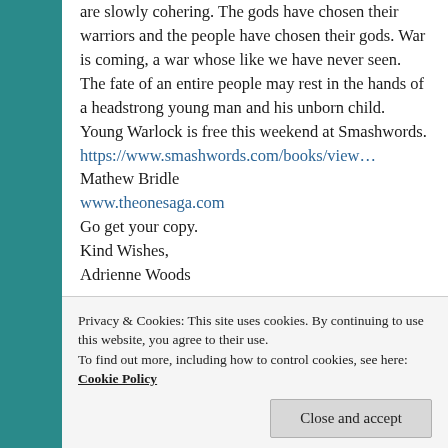are slowly cohering. The gods have chosen their warriors and the people have chosen their gods. War is coming, a war whose like we have never seen. The fate of an entire people may rest in the hands of a headstrong young man and his unborn child. Young Warlock is free this weekend at Smashwords. https://www.smashwords.com/books/view… Mathew Bridle www.theonesaga.com Go get your copy. Kind Wishes, Adrienne Woods
Privacy & Cookies: This site uses cookies. By continuing to use this website, you agree to their use. To find out more, including how to control cookies, see here: Cookie Policy